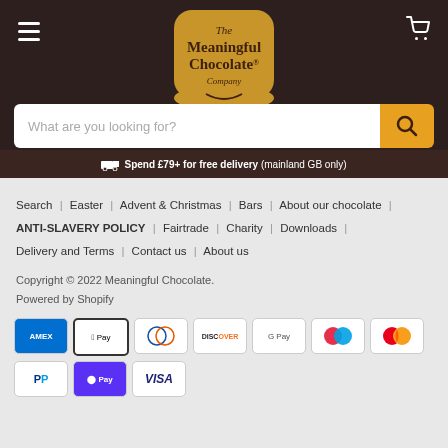[Figure (logo): The Meaningful Chocolate Company logo in golden shield shape on dark brown header]
What are you looking for?
🚚 Spend £79+ for free delivery (mainland GB only)
Search | Easter | Advent & Christmas | Bars | About our chocolate | ANTI-SLAVERY POLICY | Fairtrade | Charity | Downloads | Delivery and Terms | Contact us | About us
Copyright © 2022 Meaningful Chocolate.
Powered by Shopify
[Figure (other): Payment method icons: American Express, Apple Pay, Diners Club, Discover, Google Pay, Maestro, Mastercard, PayPal, Shop Pay, Visa]